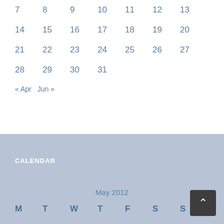| M | T | W | T | F | S | S |
| --- | --- | --- | --- | --- | --- | --- |
| 7 | 8 | 9 | 10 | 11 | 12 | 13 |
| 14 | 15 | 16 | 17 | 18 | 19 | 20 |
| 21 | 22 | 23 | 24 | 25 | 26 | 27 |
| 28 | 29 | 30 | 31 |  |  |  |
« Apr   Jun »
CALENDAR
May 2012
| M | T | W | T | F | S | S |
| --- | --- | --- | --- | --- | --- | --- |